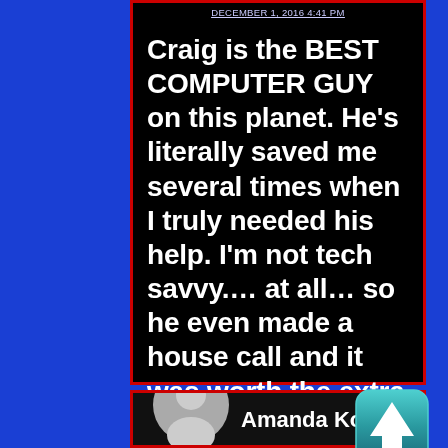DECEMBER 1, 2016 4:41 PM
Craig is the BEST COMPUTER GUY on this planet. He's literally saved me several times when I truly needed his help. I'm not tech savvy.... at all... so he even made a house call and it was worth the extra few dollars. "Who do you call? Craig Keiger!"
[Figure (photo): Teal/blue rounded square button with white upward-pointing arrow icon]
[Figure (photo): Gray circular avatar/profile icon placeholder at bottom of next review card]
Amanda Konrad